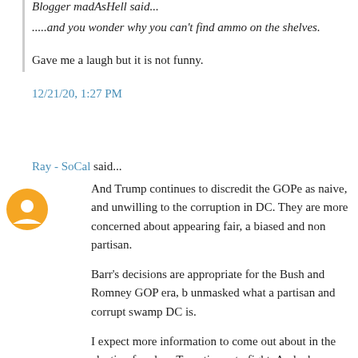Blogger madAsHell said...
.....and you wonder why you can't find ammo on the shelves.
Gave me a laugh but it is not funny.
12/21/20, 1:27 PM
Ray - SoCal said...
And Trump continues to discredit the GOPe as naive, and unwilling to the corruption in DC. They are more concerned about appearing fair, a biased and non partisan.
Barr’s decisions are appropriate for the Bush and Romney GOP era, b unmasked what a partisan and corrupt swamp DC is.
I expect more information to come out about in the election fraud, as T continues to fight. And who knows, the horse may learn to sing!